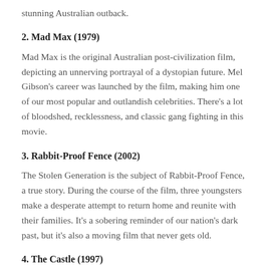stunning Australian outback.
2. Mad Max (1979)
Mad Max is the original Australian post-civilization film, depicting an unnerving portrayal of a dystopian future. Mel Gibson's career was launched by the film, making him one of our most popular and outlandish celebrities. There's a lot of bloodshed, recklessness, and classic gang fighting in this movie.
3. Rabbit-Proof Fence (2002)
The Stolen Generation is the subject of Rabbit-Proof Fence, a true story. During the course of the film, three youngsters make a desperate attempt to return home and reunite with their families. It's a sobering reminder of our nation's dark past, but it's also a moving film that never gets old.
4. The Castle (1997)